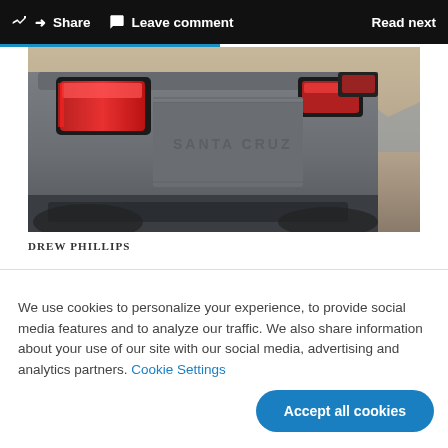Share  Leave comment  Read next
[Figure (photo): Rear view of a Hyundai Santa Cruz pickup truck showing red tail lights and embossed SANTA CRUZ lettering on the tailgate, photographed in a desert setting]
DREW PHILLIPS
We use cookies to personalize your experience, to provide social media features and to analyze our traffic. We also share information about your use of our site with our social media, advertising and analytics partners. Cookie Settings
Accept all cookies